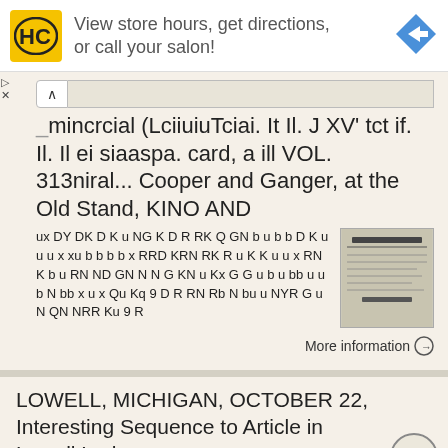[Figure (infographic): Advertisement banner: HC logo (yellow square with HC letters), text 'View store hours, get directions, or call your salon!', blue diamond arrow icon on right]
mincrcial (LciiuiuTciai. It Il. J XV' tct if. Il. Il ei siaaspa. card, a ill VOL. 313niral... Cooper and Ganger, at the Old Stand, KINO AND
ux DY DK D K u NG K D R RK Q GN b u b b D K u u u x xu b b b b x RRD KRN RK R u K K u u x RN K b u RN ND GN N N G KN u Kx G G u b u bb u u b N bb x u x Qu Kq 9 D R RN Rb N bu u NYR G u N QN NRR Ku 9 R
More information →
LOWELL, MICHIGAN, OCTOBER 22, Interesting Sequence to Article in Lowell Ledger